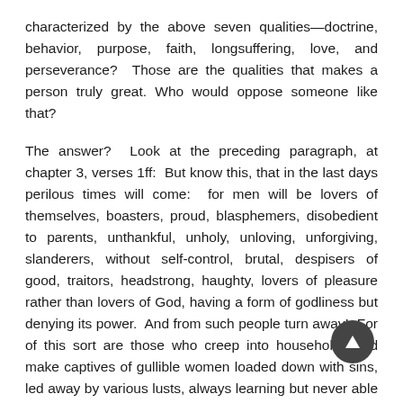characterized by the above seven qualities—doctrine, behavior, purpose, faith, longsuffering, love, and perseverance?  Those are the qualities that makes a person truly great. Who would oppose someone like that?
The answer?  Look at the preceding paragraph, at chapter 3, verses 1ff:  But know this, that in the last days perilous times will come:  for men will be lovers of themselves, boasters, proud, blasphemers, disobedient to parents, unthankful, unholy, unloving, unforgiving, slanderers, without self-control, brutal, despisers of good, traitors, headstrong, haughty, lovers of pleasure rather than lovers of God, having a form of godliness but denying its power.  And from such people turn away!  For of this sort are those who creep into households and make captives of gullible women loaded down with sins, led away by various lusts, always learning but never able to come to the knowledge of the truth.  Now as Jannes and Jambres resisted Moses, so do these also resist the truth:  men of corrupt minds, disapproved concerning the faith; but they will progress no further, for their folly will be manifest to all, as their...